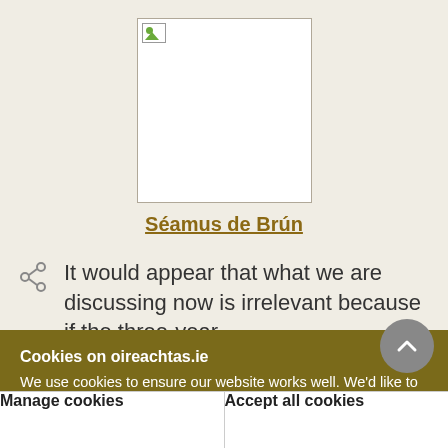[Figure (photo): Profile photo placeholder (broken image) for Séamus de Brún, shown as a white rectangle with broken image icon]
Séamus de Brún
It would appear that what we are discussing now is irrelevant because if the three-year
Cookies on oireachtas.ie
We use cookies to ensure our website works well. We'd like to use analytics and functionality cookies to help us improve it but we require your consent to do so. If you don't consent, only necessary cookies will be used. Read more about our cookies
Manage cookies
Accept all cookies